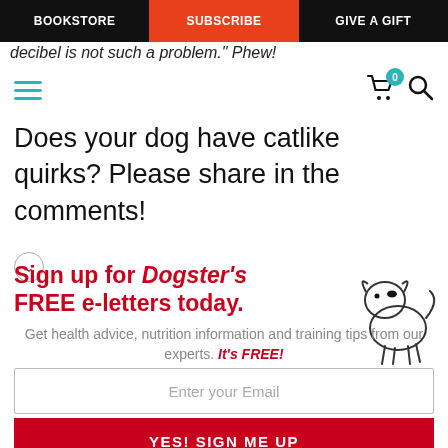BOOKSTORE | SUBSCRIBE | GIVE A GIFT
decibel is not such a problem." Phew!
Does your dog have catlike quirks? Please share in the comments!
Sign up for Dogster's FREE e-letters today. Get health advice, nutrition information and training tips from our experts. It's FREE!